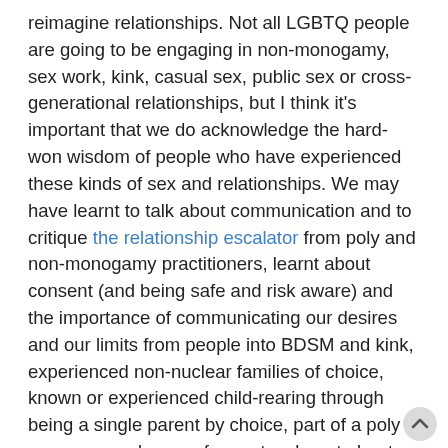reimagine relationships. Not all LGBTQ people are going to be engaging in non-monogamy, sex work, kink, casual sex, public sex or cross-generational relationships, but I think it's important that we do acknowledge the hard-won wisdom of people who have experienced these kinds of sex and relationships. We may have learnt to talk about communication and to critique the relationship escalator from poly and non-monogamy practitioners, learnt about consent (and being safe and risk aware) and the importance of communicating our desires and our limits from people into BDSM and kink, experienced non-nuclear families of choice, known or experienced child-rearing through being a single parent by choice, part of a poly group, or as donors of gametes, learnt about boundaries and self-care from sex workers, learnt about sexual health from people who practice casual sex. We may have been able to pass on our knowledge and teach other people.
We may be able to use this awareness to reimagine a binary of good and bad relationships that, as M-J Barker does here, places sex and relationships which are not consensual, not informed, and which insist on strict, non-negotiable gendered roles within sex at the